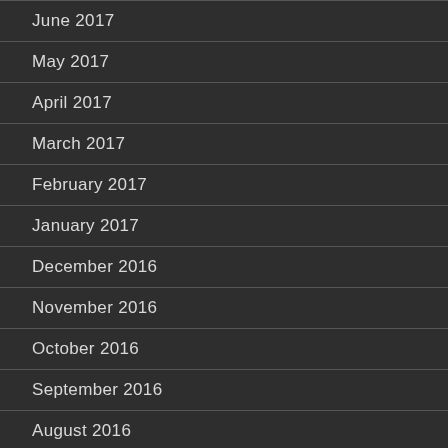June 2017
May 2017
April 2017
March 2017
February 2017
January 2017
December 2016
November 2016
October 2016
September 2016
August 2016